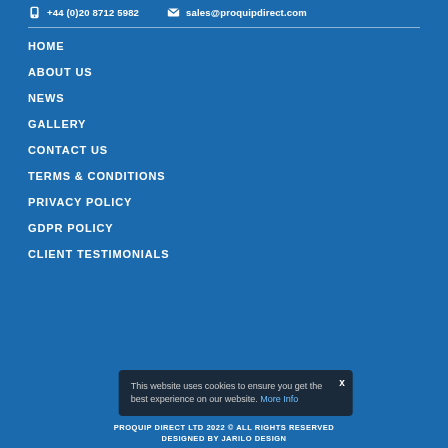+44 (0)20 8712 5982   sales@proquipdirect.com
HOME
ABOUT US
NEWS
GALLERY
CONTACT US
TERMS & CONDITIONS
PRIVACY POLICY
GDPR POLICY
CLIENT TESTIMONIALS
This website uses cookies to ensure you get the best experience on our website. More Info
PROQUIP DIRECT LTD 2022 © ALL RIGHTS RESERVED DESIGNED BY JARILO DESIGN